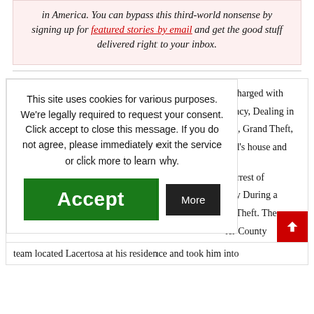in America. You can bypass this third-world nonsense by signing up for featured stories by email and get the good stuff delivered right to your inbox.
This site uses cookies for various purposes. We're legally required to request your consent. Click accept to close this message. If you do not agree, please immediately exit the service or click more to learn why.
d charged with gency, Dealing in hip, Grand Theft, end's house and
e arrest of lary During a tit Theft. The ler County ent (P.A.C.E.
team located Lacertosa at his residence and took him into